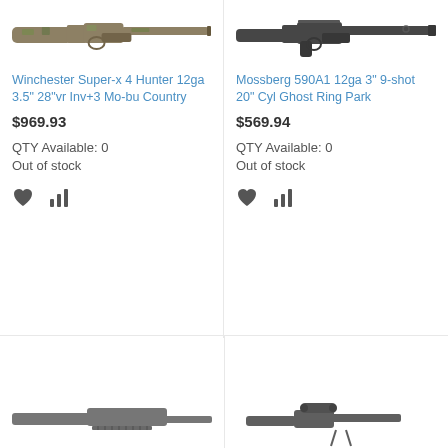[Figure (photo): Winchester Super-x 4 Hunter shotgun with camouflage finish, shown in profile view]
[Figure (photo): Mossberg 590A1 shotgun with black finish, shown in profile view]
Winchester Super-x 4 Hunter 12ga 3.5" 28"vr Inv+3 Mo-bu Country
$969.93
QTY Available: 0
Out of stock
Mossberg 590A1 12ga 3" 9-shot 20" Cyl Ghost Ring Park
$569.94
QTY Available: 0
Out of stock
[Figure (photo): Partial view of shotgun at bottom left]
[Figure (photo): Partial view of rifle/shotgun at bottom right]